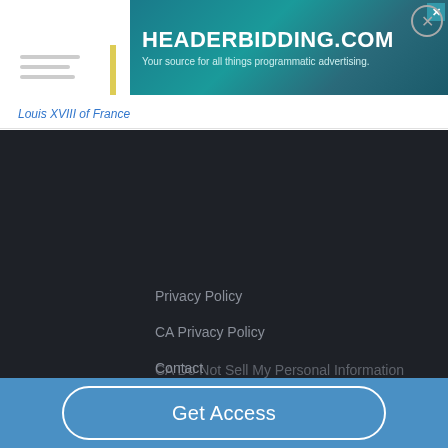[Figure (screenshot): Advertisement banner for HEADERBIDDING.COM with tagline 'Your source for all things programmatic advertising.' on a teal/dark background with close button]
Louis XVIII of France
Privacy Policy
CA Privacy Policy
Contact
Terms of Service
Copyright
CA Do Not Sell My Personal Information
Get Access